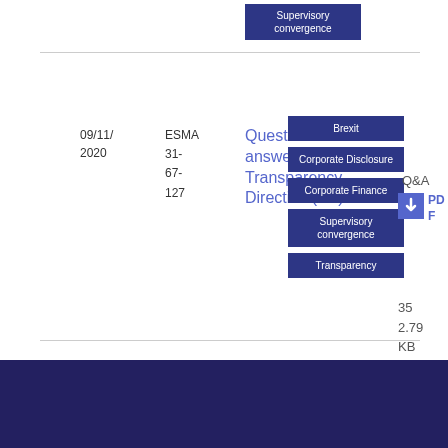| Date | Reference | Title | Topics | Type | Format | Size |
| --- | --- | --- | --- | --- | --- | --- |
| 09/11/2020 | ESMA 31-67-127 | Questions and answers on Transparency Directive (TD) | Brexit, Corporate Disclosure, Corporate Finance, Supervisory convergence, Transparency | Q&A | PDF | 35
2.79 KB |
Cookie policy   Legal notice
Data protection   Sitemap